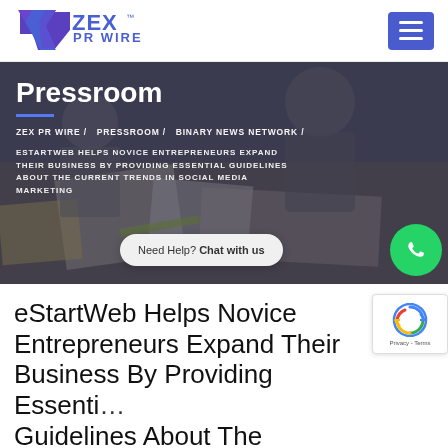[Figure (logo): ZEX PR WIRE logo with stylized Y/X mark in purple/blue and text 'ZEX PR WIRE' with TM symbol]
[Figure (photo): Hero banner showing people working at a desk with papers and documents, overlaid with dark tint. Shows breadcrumb navigation and article title in uppercase text overlay.]
Pressroom
ZEX PR WIRE / PRESSROOM / BINARY NEWS NETWORK /
ESTARTWEB HELPS NOVICE ENTREPRENEURS EXPAND THEIR BUSINESS BY PROVIDING ESSENTIAL GUIDELINES ABOUT THE CURRENT TRENDS IN SOCIAL MEDIA MARKETING
eStartWeb Helps Novice Entrepreneurs Expand Their Business By Providing Essenti Guidelines About The Current